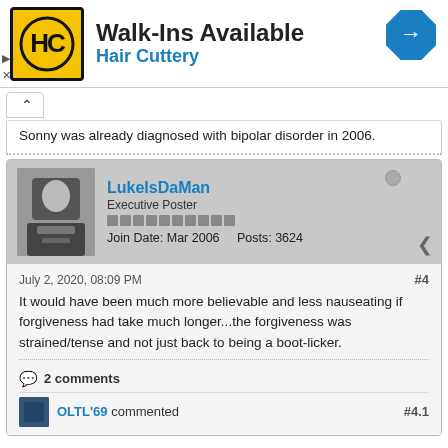[Figure (other): Hair Cuttery advertisement banner with logo, tagline 'Walk-Ins Available', company name 'Hair Cuttery', and a blue navigation arrow icon]
Sonny was already diagnosed with bipolar disorder in 2006.
LukeIsDaMan
Executive Poster
Join Date: Mar 2006    Posts: 3624
July 2, 2020, 08:09 PM    #4
It would have been much more believable and less nauseating if forgiveness had take much longer...the forgiveness was strained/tense and not just back to being a boot-licker.
2 comments
OLTL'69 commented    #4.1